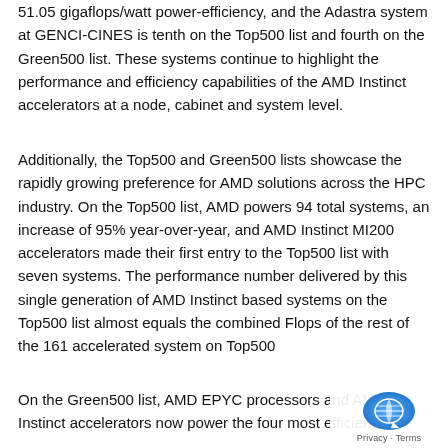51.05 gigaflops/watt power-efficiency, and the Adastra system at GENCI-CINES is tenth on the Top500 list and fourth on the Green500 list. These systems continue to highlight the performance and efficiency capabilities of the AMD Instinct accelerators at a node, cabinet and system level.
Additionally, the Top500 and Green500 lists showcase the rapidly growing preference for AMD solutions across the HPC industry. On the Top500 list, AMD powers 94 total systems, an increase of 95% year-over-year, and AMD Instinct MI200 accelerators made their first entry to the Top500 list with seven systems. The performance number delivered by this single generation of AMD Instinct based systems on the Top500 list almost equals the combined Flops of the rest of the 161 accelerated system on Top500
On the Green500 list, AMD EPYC processors and AMD Instinct accelerators now power the four most efficient